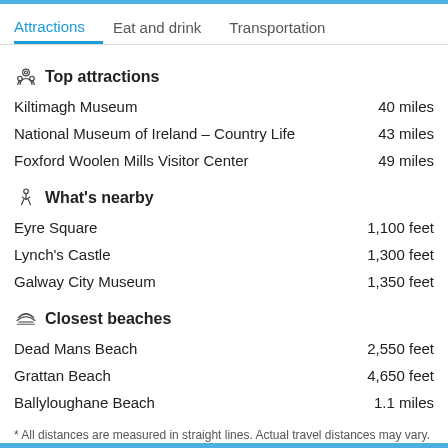Attractions | Eat and drink | Transportation
Top attractions
Kiltimagh Museum — 40 miles
National Museum of Ireland – Country Life — 43 miles
Foxford Woolen Mills Visitor Center — 49 miles
What's nearby
Eyre Square — 1,100 feet
Lynch's Castle — 1,300 feet
Galway City Museum — 1,350 feet
Closest beaches
Dead Mans Beach — 2,550 feet
Grattan Beach — 4,650 feet
Ballyloughane Beach — 1.1 miles
* All distances are measured in straight lines. Actual travel distances may vary.